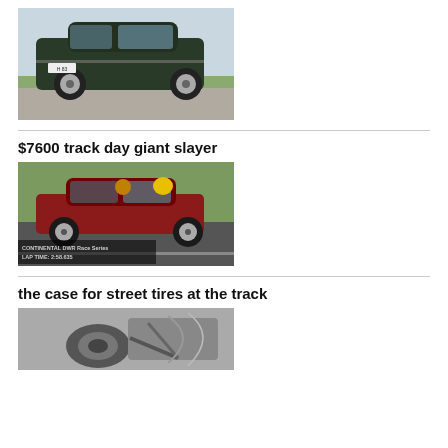[Figure (photo): Dark green hatchback car (VW Golf/similar) photographed from rear three-quarter angle on a road, with license plate visible.]
$7600 track day giant slayer
[Figure (photo): Red BMW sedan on a race track, with on-screen text overlay reading 'CONTINENTAL DWR Race Series LAP TIME: 2:58.635'.]
the case for street tires at the track
[Figure (photo): Close-up black and white photo of a car's underside showing tire and suspension components.]